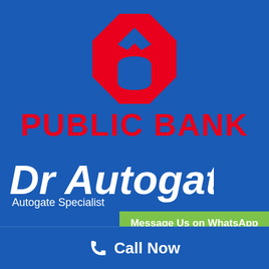[Figure (logo): Public Bank logo - red octagonal shape with diamond cutout and curved bottom element]
PUBLIC BANK
[Figure (logo): Dr Autogate logo - white bold italic text with tagline 'Autogate Specialist']
Message Us on WhatsApp
Call Now